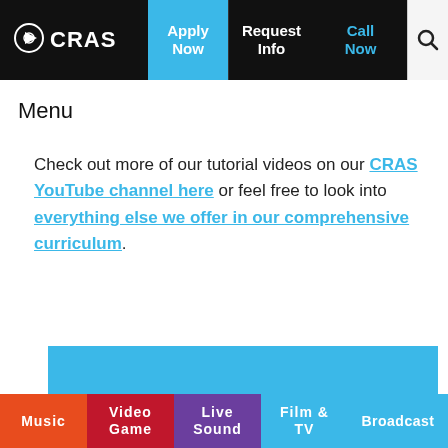CRAS | Apply Now | Request Info | Call Now
Menu
Check out more of our tutorial videos on our CRAS YouTube channel here or feel free to look into everything else we offer in our comprehensive curriculum.
[Figure (other): Blue promotional banner with white text reading 'Start your audio engineering career in']
Music | Video Game | Live Sound | Film & TV | Broadcast